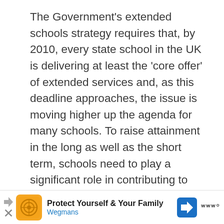The Government's extended schools strategy requires that, by 2010, every state school in the UK is delivering at least the 'core offer' of extended services and, as this deadline approaches, the issue is moving higher up the agenda for many schools. To raise attainment in the long as well as the short term, schools need to play a significant role in contributing to community cohesion, local regeneration and sustainable development. As a
[Figure (other): Advertisement banner for Wegmans: orange square icon with circular logo design, bold text 'Protect Yourself & Your Family', blue subtitle 'Wegmans', blue diamond navigation icon, and 'W' Wegmans brand mark]